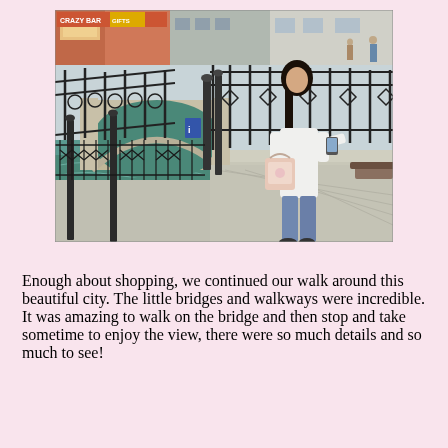[Figure (photo): A woman with long black hair wearing a white top, jeans, and carrying a pink floral bag stands on a Venetian bridge looking at her phone. Behind her is a stone arch bridge over a canal with green water, ornate iron railings, canal buildings, and stone walkways. The scene is in Venice, Italy.]
Enough about shopping, we continued our walk around this beautiful city. The little bridges and walkways were incredible. It was amazing to walk on the bridge and then stop and take sometime to enjoy the view, there were so much details and so much to see!